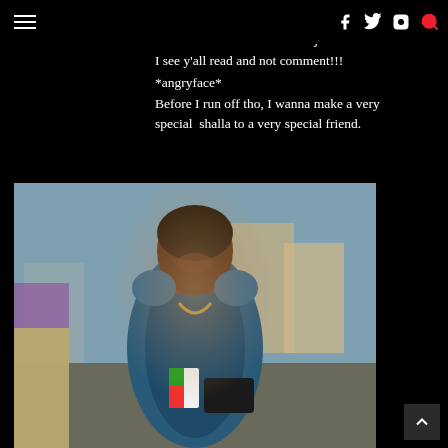Navigation bar with hamburger menu, Facebook, Twitter, Instagram icons, and search icon
Alright Happy Weekend dolls...
And use the comment button jor.
I see y'all read and not comment!!!
*angryface*
Before I run off tho, I wanna make a very special  shalla to a very special friend.
[Figure (photo): A smiling woman in a blue patterned dress with gold chain necklace, holding a black clutch bag and what appears to be a flag, standing on a street with other people and buildings visible in the background.]